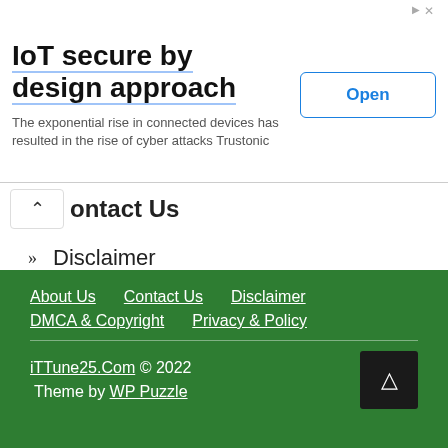[Figure (screenshot): Advertisement banner: 'IoT secure by design approach' with description text and an 'Open' button. Has ad icon and close X in top right.]
Contact Us
» Disclaimer
» DMCA & Copyright
» Privacy & Policy
About Us   Contact Us   Disclaimer   DMCA & Copyright   Privacy & Policy   iTTune25.Com © 2022   Theme by WP Puzzle